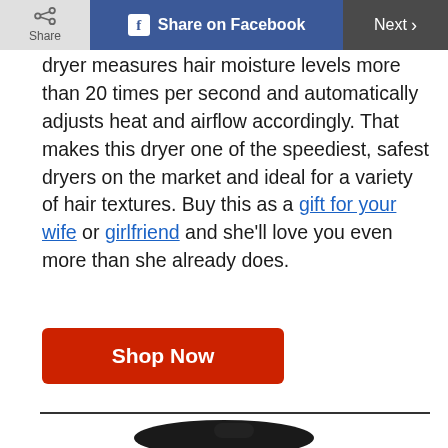Share | Share on Facebook | Next >
dryer measures hair moisture levels more than 20 times per second and automatically adjusts heat and airflow accordingly. That makes this dryer one of the speediest, safest dryers on the market and ideal for a variety of hair textures. Buy this as a gift for your wife or girlfriend and she'll love you even more than she already does.
Shop Now
[Figure (photo): Partial view of a black hair dryer product at the bottom of the page]